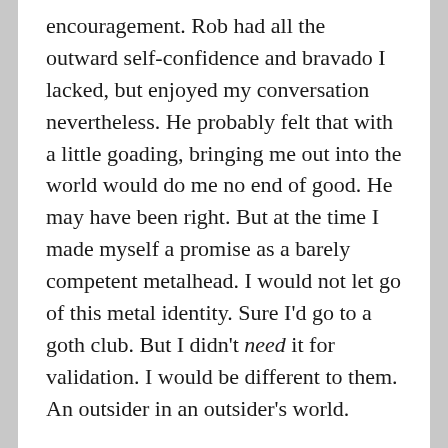encouragement. Rob had all the outward self-confidence and bravado I lacked, but enjoyed my conversation nevertheless. He probably felt that with a little goading, bringing me out into the world would do me no end of good. He may have been right. But at the time I made myself a promise as a barely competent metalhead. I would not let go of this metal identity. Sure I'd go to a goth club. But I didn't need it for validation. I would be different to them. An outsider in an outsider's world.
I had already burned Rob some CDs at his request, downloaded from the file sharing site 'Soulseek', The Sisters of Mercy, Mortiis, Lacrimosa (Don't guess the spelling of that last band when googling them, you may get